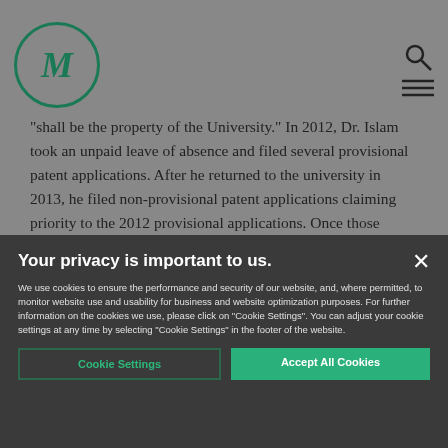[Figure (logo): Circular logo with letter M in dark green]
"shall be the property of the University." In 2012, Dr. Islam took an unpaid leave of absence and filed several provisional patent applications. After he returned to the university in 2013, he filed non-provisional patent applications claiming priority to the 2012 provisional applications. Once those
Your privacy is important to us.
We use cookies to ensure the performance and security of our website, and, where permitted, to monitor website use and usability for business and website optimization purposes. For further information on the cookies we use, please click on "Cookie Settings". You can adjust your cookie settings at any time by selecting "Cookie Settings" in the footer of the website.
Cookie Settings    Accept All Cookies